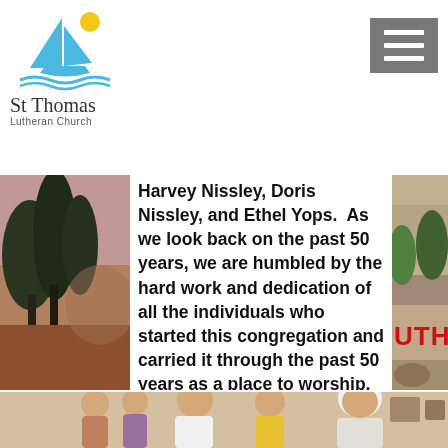[Figure (logo): St Thomas Lutheran Church logo with sailboat graphic in blue and yellow]
[Figure (other): Hamburger menu button (three horizontal white lines on gray background)]
[Figure (photo): Background photo strip on left showing trees with reddish/brown tones]
Harvey Nissley, Doris Nissley, and Ethel Yops.  As we look back on the past 50 years, we are humbled by the hard work and dedication of all the individuals who started this congregation and carried it through the past 50 years as a place to worship, be involved, and serve others. Their legacy has given rise to who we are today: real people, real life, real faith.
[Figure (photo): Right side partial photo strip showing church sign with partial text UTHE visible in red, and outdoor scenery]
[Figure (photo): Bottom photo showing group of people including youth and an elderly woman with white hair and glasses, in an indoor setting]